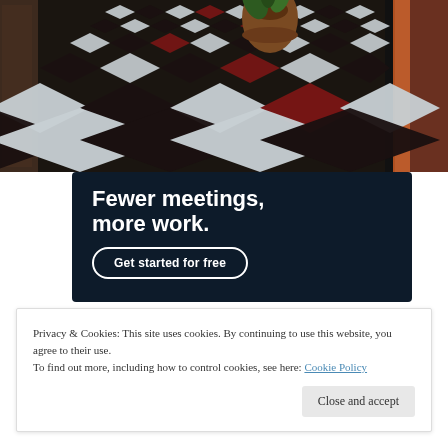[Figure (photo): Photograph of a hallway with a black, white, and dark red diamond/checkered tile floor pattern. There is a large clay pot visible, ornate wall decorations, and an orange/terracotta floor on the right side.]
Fewer meetings, more work.
Get started for free
Privacy & Cookies: This site uses cookies. By continuing to use this website, you agree to their use.
To find out more, including how to control cookies, see here: Cookie Policy
Close and accept